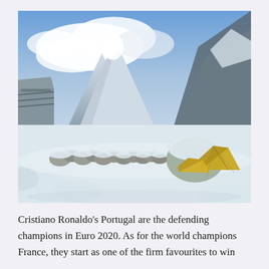[Figure (photo): Snow-covered mountain landscape with yellow tents near a stone wall, large mountains with clouds in the background, blue sky above.]
Cristiano Ronaldo's Portugal are the defending champions in Euro 2020. As for the world champions France, they start as one of the firm favourites to win